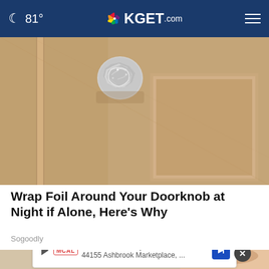🌙 81° NBC KGET.com ≡
[Figure (photo): Close-up photo of a wooden door with aluminum foil crumpled and wrapped around the door knob area]
Wrap Foil Around Your Doorknob at Night if Alone, Here's Why
Sogoodly
[Figure (photo): Partial photo of hands, with an advertisement overlay for Ashburn location: OPEN 10:30AM-9PM, 44155 Ashbrook Marketplace, ...]